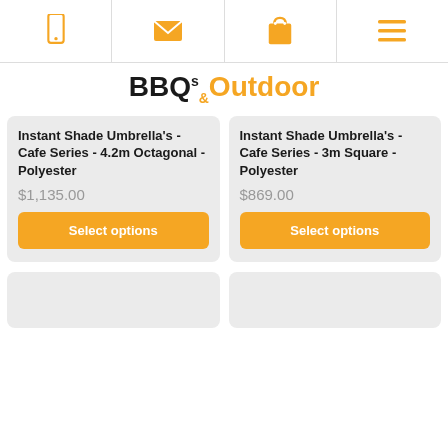[Navigation icons: phone, email, cart, menu]
BBQs&Outdoor
Instant Shade Umbrella's - Cafe Series - 4.2m Octagonal - Polyester
$1,135.00
Select options
Instant Shade Umbrella's - Cafe Series - 3m Square - Polyester
$869.00
Select options